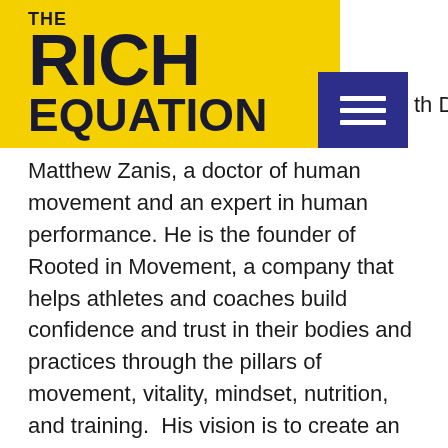[Figure (logo): The Rich Equation podcast logo on yellow background with hamburger menu icon in dark blue]
th Dr. Matthew Zanis, a doctor of human movement and an expert in human performance. He is the founder of Rooted in Movement, a company that helps athletes and coaches build confidence and trust in their bodies and practices through the pillars of movement, vitality, mindset, nutrition, and training.  His vision is to create an awareness of new ways of working with the human body and rehabilitation, performance, and coaching circles and bring that alive through a philosophy that is rooted in movement.